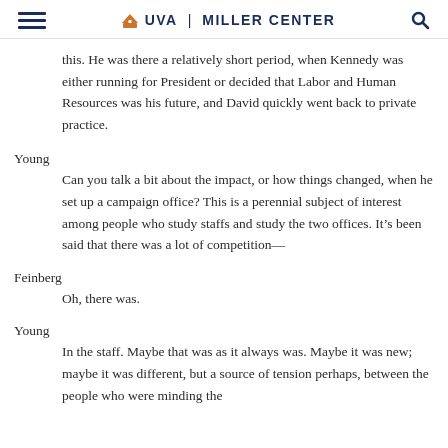UVA | MILLER CENTER
this. He was there a relatively short period, when Kennedy was either running for President or decided that Labor and Human Resources was his future, and David quickly went back to private practice.
Young
Can you talk a bit about the impact, or how things changed, when he set up a campaign office? This is a perennial subject of interest among people who study staffs and study the two offices. It’s been said that there was a lot of competition—
Feinberg
Oh, there was.
Young
In the staff. Maybe that was as it always was. Maybe it was new; maybe it was different, but a source of tension perhaps, between the people who were minding the